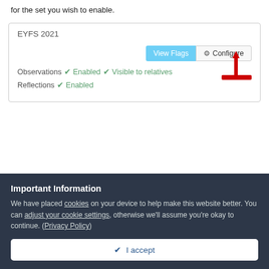for the set you wish to enable.
[Figure (screenshot): UI card showing 'EYFS 2021' with 'View Flags' and 'Configure' buttons, observations and reflections enabled, with a red arrow pointing to the Configure button]
Important Information
We have placed cookies on your device to help make this website better. You can adjust your cookie settings, otherwise we'll assume you're okay to continue. (Privacy Policy)